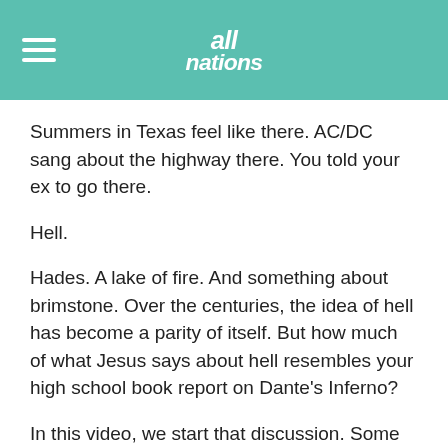All Nations
Summers in Texas feel like there. AC/DC sang about the highway there. You told your ex to go there.
Hell.
Hades. A lake of fire. And something about brimstone. Over the centuries, the idea of hell has become a parity of itself. But how much of what Jesus says about hell resembles your high school book report on Dante's Inferno?
In this video, we start that discussion. Some of the reactions gave me some new thoughts to consider, I think the same will be true for you.